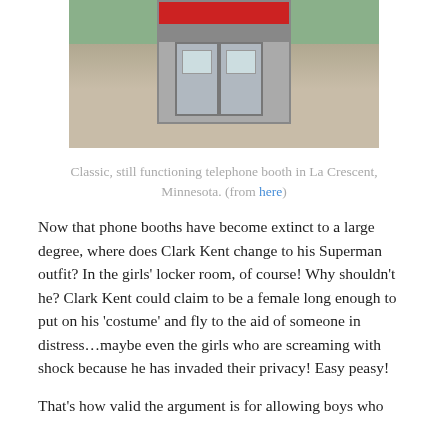[Figure (photo): Classic telephone booth with red top and aluminum/glass door panels, situated outside on a concrete sidewalk with grass in background. La Crescent, Minnesota.]
Classic, still functioning telephone booth in La Crescent, Minnesota. (from here)
Now that phone booths have become extinct to a large degree, where does Clark Kent change to his Superman outfit? In the girls’ locker room, of course! Why shouldn’t he? Clark Kent could claim to be a female long enough to put on his ‘costume’ and fly to the aid of someone in distress…maybe even the girls who are screaming with shock because he has invaded their privacy! Easy peasy!
That’s how valid the argument is for allowing boys who